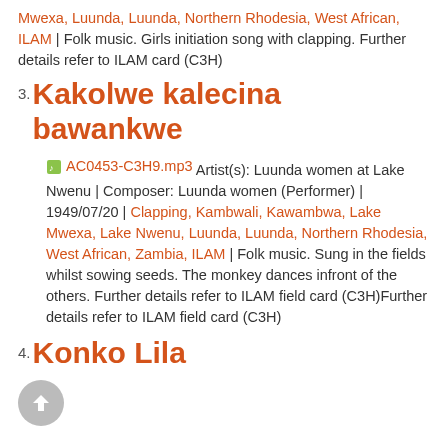Mwexa, Luunda, Luunda, Northern Rhodesia, West African, ILAM | Folk music. Girls initiation song with clapping. Further details refer to ILAM card (C3H)
3. Kakolwe kalecina bawankwe
AC0453-C3H9.mp3 Artist(s): Luunda women at Lake Nwenu | Composer: Luunda women (Performer) | 1949/07/20 | Clapping, Kambwali, Kawambwa, Lake Mwexa, Lake Nwenu, Luunda, Luunda, Northern Rhodesia, West African, Zambia, ILAM | Folk music. Sung in the fields whilst sowing seeds. The monkey dances infront of the others. Further details refer to ILAM field card (C3H)Further details refer to ILAM field card (C3H)
4. Konko Lila